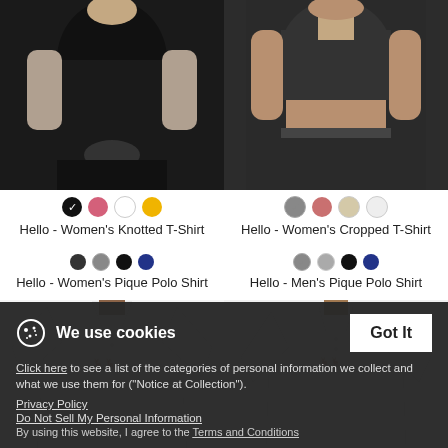[Figure (photo): Woman in black knotted t-shirt, product photo]
Hello - Women's Knotted T-Shirt
[Figure (photo): Woman in dark cropped t-shirt, product photo]
Hello - Women's Cropped T-Shirt
[Figure (photo): Woman in white pique polo shirt with logo, product photo]
[Figure (photo): Man in white pique polo shirt with logo, product photo]
Hello - Women's Pique Polo Shirt
Hello - Men's Pique Polo Shirt
We use cookies
Click here to see a list of the categories of personal information we collect and what we use them for ("Notice at Collection").
Privacy Policy
Do Not Sell My Personal Information
By using this website, I agree to the Terms and Conditions